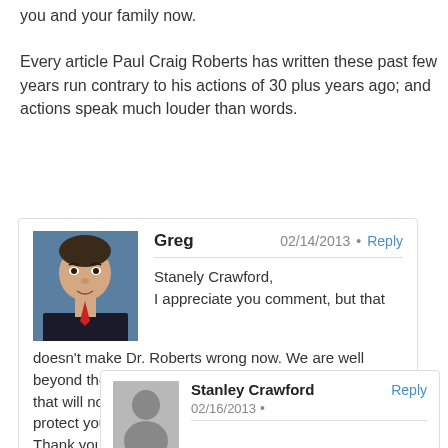you and your family now.

Every article Paul Craig Roberts has written these past few years run contrary to his actions of 30 plus years ago; and actions speak much louder than words.
Greg
02/14/2013 • Reply

Stanely Crawford,
I appreciate you comment, but that doesn't make Dr. Roberts wrong now. We are well beyond the phony Left/Right paradigm. Holding on to that will not help you to make the right decisions to protect you and your family. I hope you are soing so. Thank you for your comment and for your support.
Greg
Stanley Crawford
Reply
02/16/2013 •